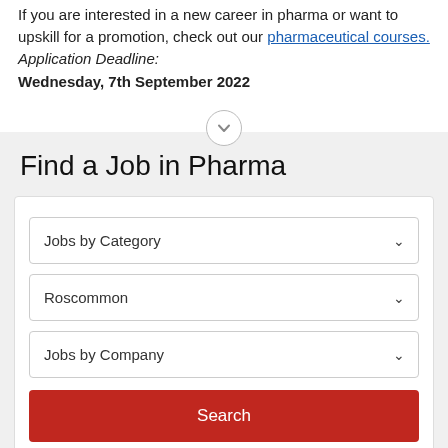If you are interested in a new career in pharma or want to upskill for a promotion, check out our pharmaceutical courses. Application Deadline: Wednesday, 7th September 2022
Find a Job in Pharma
[Figure (other): Dropdown UI widget: Jobs by Category with chevron]
[Figure (other): Dropdown UI widget: Roscommon with chevron]
[Figure (other): Dropdown UI widget: Jobs by Company with chevron]
[Figure (other): Search button (red)]